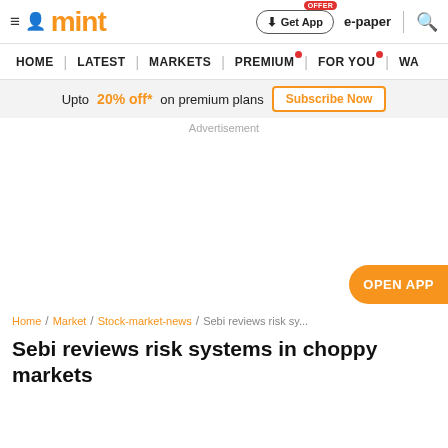mint | Get App | e-paper | search
HOME | LATEST | MARKETS | PREMIUM | FOR YOU | WA
Upto 20% off* on premium plans  Subscribe Now
Advertisement
OPEN APP
Home / Market / Stock-market-news / Sebi reviews risk sy...
Sebi reviews risk systems in choppy markets